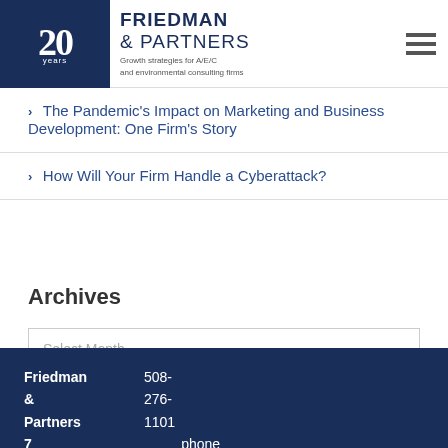Friedman & Partners — Growth strategies for A/E/C and environmental consulting firms
The Pandemic's Impact on Marketing and Business Development: One Firm's Story
How Will Your Firm Handle a Cyberattack?
Archives
Select Month
Friedman & Partners  7  508-276-1101  phone